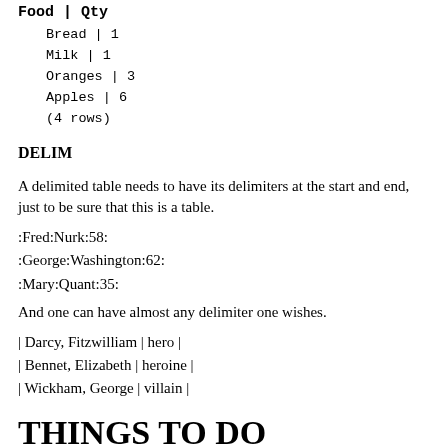| Food | Qty |
| --- | --- |
| Bread | 1 |
| Milk | 1 |
| Oranges | 3 |
| Apples | 6 |
DELIM
A delimited table needs to have its delimiters at the start and end, just to be sure that this is a table.
:Fred:Nurk:58:
:George:Washington:62:
:Mary:Quant:35:
And one can have almost any delimiter one wishes.
| Darcy, Fitzwilliam | hero |
| Bennet, Elizabeth | heroine |
| Wickham, George | villain |
THINGS TO DO